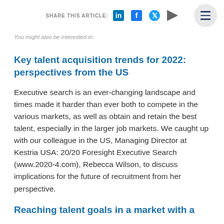SHARE THIS ARTICLE: [LinkedIn] [Facebook] [Twitter] [Email]
You might also be interested in:
Key talent acquisition trends for 2022: perspectives from the US
Executive search is an ever-changing landscape and times made it harder than ever both to compete in the various markets, as well as obtain and retain the best talent, especially in the larger job markets. We caught up with our colleague in the US, Managing Director at Kestria USA: 20/20 Foresight Executive Search (www.2020-4.com), Rebecca Wilson, to discuss implications for the future of recruitment from her perspective.
Reaching talent goals in a market with a